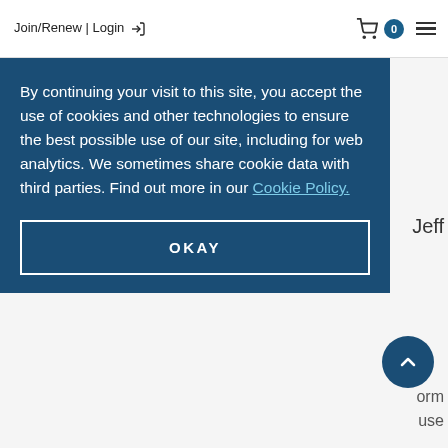Join/Renew | Login  🛒 0  ☰
By continuing your visit to this site, you accept the use of cookies and other technologies to ensure the best possible use of our site, including for web analytics. We sometimes share cookie data with third parties. Find out more in our Cookie Policy.
OKAY
Jeff
orm
use
Cell and Gene Therapy Products (new standard). Dr. Catherine B. Zander, Chair, Tracey Hlucky (co-Chair- Kite)
New Standard Initiatives